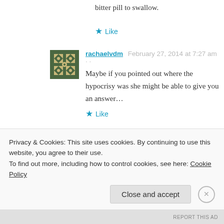bitter pill to swallow.
★ Like
rachaelvdm  February 27, 2014 at 7:27 am · ·
Maybe if you pointed out where the hypocrisy was she might be able to give you an answer...
★ Like
genderneutrallanguage  February 27, 2014 at 12:54 pm · ·
With the convolution of language surrounding feminism, pointing out the hypocrisy isn't just as
Privacy & Cookies: This site uses cookies. By continuing to use this website, you agree to their use.
To find out more, including how to control cookies, see here: Cookie Policy
Close and accept
REPORT THIS AD